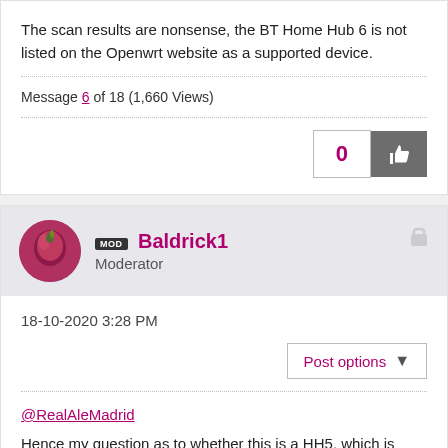The scan results are nonsense, the BT Home Hub 6 is not listed on the Openwrt website as a supported device.
Message 6 of 18 (1,660 Views)
0
Baldrick1
Moderator
18-10-2020 3:28 PM
Post options
@RealAleMadrid
Hence my question as to whether this is a HH5, which is compatible.